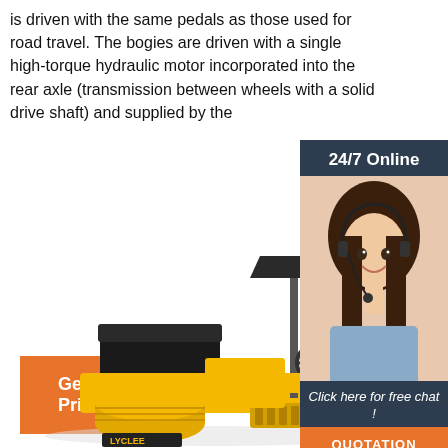is driven with the same pedals as those used for road travel. The bogies are driven with a single high-torque hydraulic motor incorporated into the rear axle (transmission between wheels with a solid drive shaft) and supplied by the
[Figure (other): Orange 'Get Price' button]
[Figure (infographic): 24/7 Online chat support sidebar with a customer service representative photo, 'Click here for free chat!' text, and an orange QUOTATION button]
[Figure (photo): Yellow road roller / compactor machine (LYCEE brand) with a sun canopy, photographed on white background]